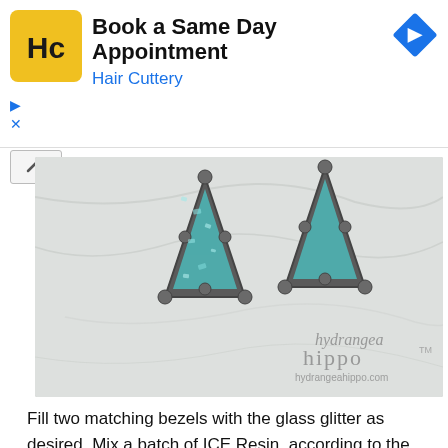[Figure (screenshot): Hair Cuttery advertisement banner with HC logo on yellow background, 'Book a Same Day Appointment' headline, 'Hair Cuttery' brand name in blue, blue diamond navigation arrow icon top right, and ad controls (triangle/x icons) bottom left]
[Figure (photo): Close-up photo of two triangular druzy crystal earrings with teal/blue-green glass glitter set in dark gunmetal bezels with ball-tipped prongs, on a white marble background. Hydrangea Hippo watermark and hydrangeahippo.com in bottom right corner.]
Fill two matching bezels with the glass glitter as desired. Mix a batch of ICE Resin, according to the manufacturer directions, and gently pour the ICE Resin over the glass glitter until the bezel is full. To get the domed look, pour a